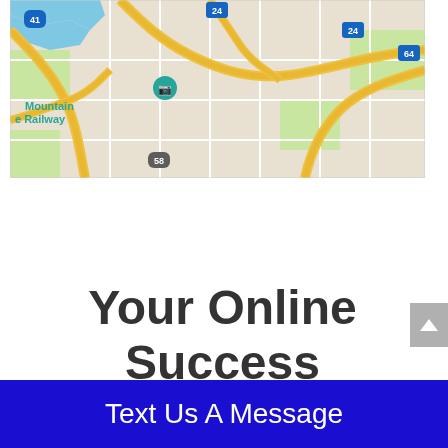[Figure (map): Google Maps screenshot showing road network with highways 24, 41, 64, 58 marked, with Mountain Railway location pin and blue water feature visible in upper left.]
Your Online Success Starts Here
Text Us A Message